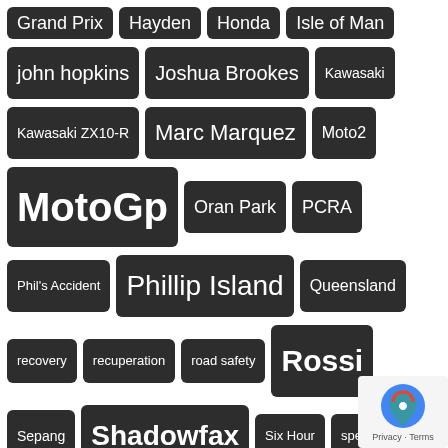[Figure (infographic): Tag cloud with motorcycle racing related tags on dark rounded rectangle backgrounds. Tags include: Grand Prix, Hayden, Honda, Isle of Man, john hopkins, Joshua Brookes, Kawasaki, Kawasaki ZX10-R, Marc Marquez, Moto2, MotoGp, Oran Park, PCRA, Phil's Accident, Phillip Island, Queensland, recovery, recuperation, road safety, Rossi, Sepang, Shadowfax, Six Hour, special, Suzuki, Ten Kate, testing, Troy Bayliss, TT, Victoria, Wakefield Park, Wayne Maxwell, wobk, Yamaha]